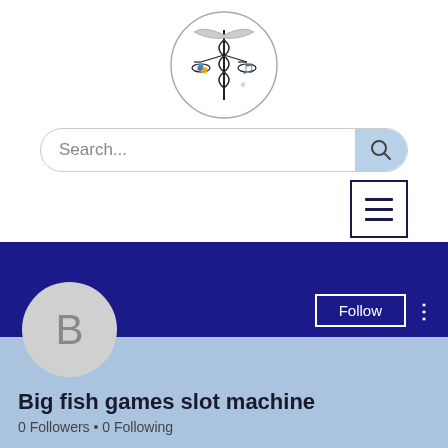[Figure (logo): Circular logo with caduceus/scales imagery in black and blue]
[Figure (screenshot): Search bar with placeholder text 'Search...' and blue search button with magnifying glass icon]
[Figure (screenshot): Hamburger menu button (three horizontal lines) with dark navy border]
[Figure (screenshot): Profile card with dark blue banner, Follow button, three-dot menu, gray avatar circle with letter B, and light blue lower area]
Big fish games slot machine
0 Followers • 0 Following